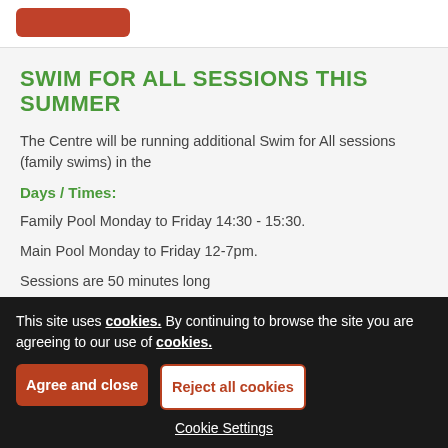SWIM FOR ALL SESSIONS THIS SUMMER
The Centre will be running additional Swim for All sessions (family swims) in the
Days / Times:
Family Pool Monday to Friday 14:30 - 15:30.
Main Pool Monday to Friday 12-7pm.
Sessions are 50 minutes long
This site uses cookies. By continuing to browse the site you are agreeing to our use of cookies.
Agree and close
Reject all cookies
Cookie Settings